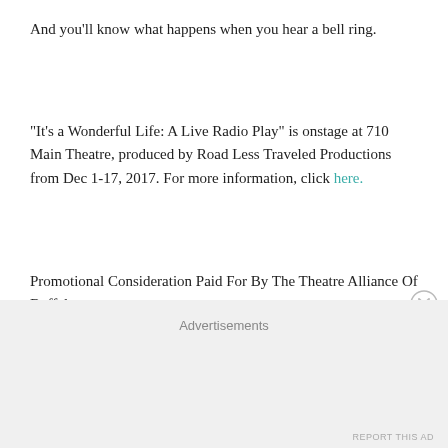And you'll know what happens when you hear a bell ring.
"It's a Wonderful Life: A Live Radio Play" is onstage at 710 Main Theatre, produced by Road Less Traveled Productions from Dec 1-17, 2017. For more information, click here.
Promotional Consideration Paid For By The Theatre Alliance Of Buffalo.
Advertisements